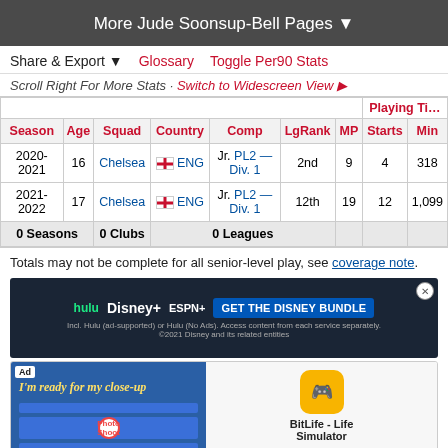More Jude Soonsup-Bell Pages ▼
Share & Export ▼   Glossary   Toggle Per90 Stats
Scroll Right For More Stats · Switch to Widescreen View ▶
| Season | Age | Squad | Country | Comp | LgRank | MP | Starts | Min |
| --- | --- | --- | --- | --- | --- | --- | --- | --- |
| 2020-2021 | 16 | Chelsea | ENG | Jr. PL2 — Div. 1 | 2nd | 9 | 4 | 318 |
| 2021-2022 | 17 | Chelsea | ENG | Jr. PL2 — Div. 1 | 12th | 19 | 12 | 1,099 |
| 0 Seasons |  | 0 Clubs |  | 0 Leagues |  |  |  |  |
Totals may not be complete for all senior-level play, see coverage note.
[Figure (screenshot): Disney Bundle advertisement banner]
[Figure (screenshot): BitLife Life Simulator advertisement with Install button]